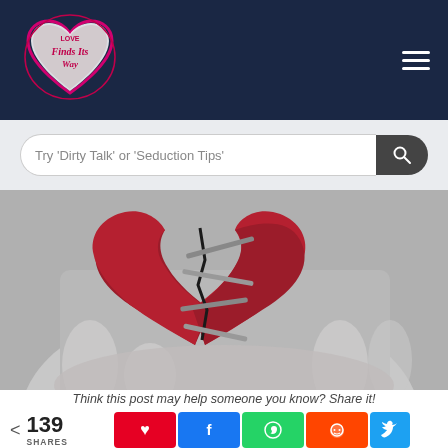Love Finds Its Way — navigation header with logo and hamburger menu
Try 'Dirty Talk' or 'Seduction Tips' — search bar placeholder
[Figure (photo): A broken red leather heart held in a black-and-white hand, with metal staples/nails attempting to hold the two halves together — symbolic image of heartbreak and repair.]
Think this post may help someone you know? Share it!
139 SHARES — social share buttons: Pinterest, Facebook, WhatsApp, Reddit, Twitter